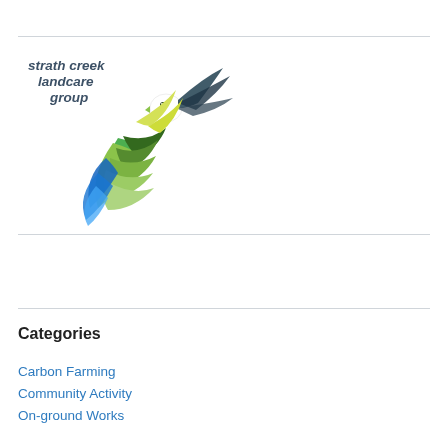[Figure (logo): Strath Creek Landcare Group logo — stylized bird with green feathers and blue wing, with text 'strath creek landcare group' in dark blue-grey italic bold]
Categories
Carbon Farming
Community Activity
On-ground Works